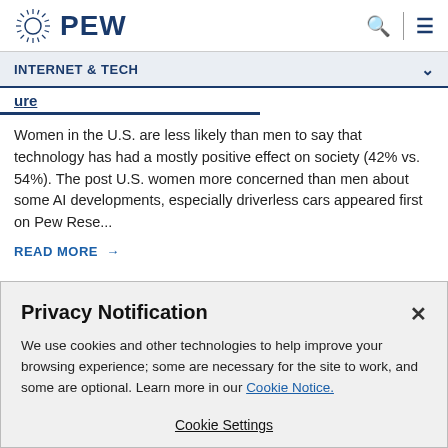PEW
INTERNET & TECH
ure
Women in the U.S. are less likely than men to say that technology has had a mostly positive effect on society (42% vs. 54%). The post U.S. women more concerned than men about some AI developments, especially driverless cars appeared first on Pew Rese...
READ MORE →
Privacy Notification
We use cookies and other technologies to help improve your browsing experience; some are necessary for the site to work, and some are optional. Learn more in our Cookie Notice.
Cookie Settings